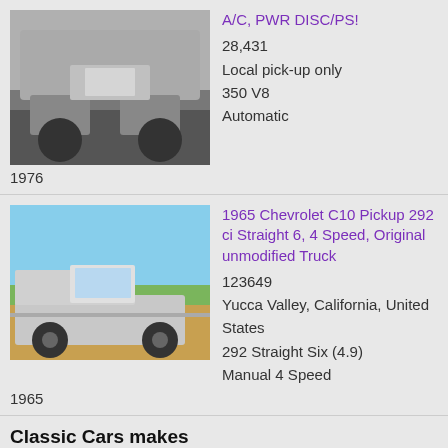[Figure (photo): Black and white photo of a 1976 Chevrolet truck/pickup, viewed from front-left angle]
A/C, PWR DISC/PS!
28,431
Local pick-up only
350 V8
Automatic
1976
[Figure (photo): Color photo of a 1965 Chevrolet C10 Pickup truck, silver/grey, parked outdoors with mountains in background]
1965 Chevrolet C10 Pickup 292 ci Straight 6, 4 Speed, Original unmodified Truck
123649
Yucca Valley, California, United States
292 Straight Six (4.9)
Manual 4 Speed
1965
Classic Cars makes
Acura
Alfa Romeo
AMC
Aston Martin
Auburn
Audi
Austin
Austin Healey
Beck
Bentley
BMW
Bugatti